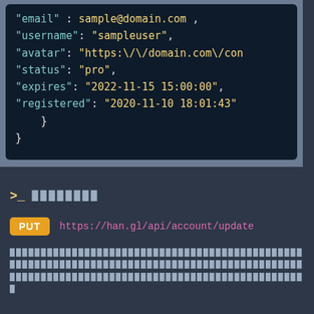[Figure (screenshot): Dark-themed code block showing a JSON object with fields: email (sample@domain.com), username (sampleuser), avatar (https:\/\/domain.com\/con...), status (pro), expires (2022-11-15 15:00:00), registered (2020-11-10 18:01:43), followed by closing braces.]
>_ ████████
PUT https://han.gl/api/account/update
███████████████████████████████████████████████████████████████████████████████████████████████████████████████████████████████████████████████████████████████████████████████████████